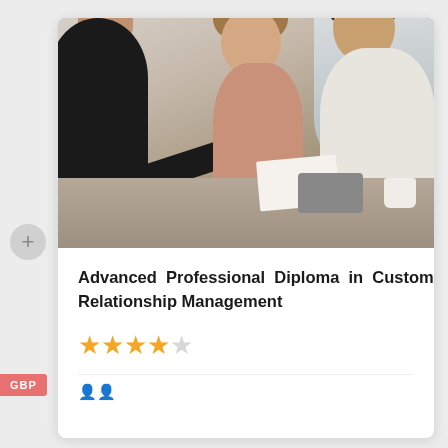[Figure (photo): Professional meeting photo showing three people at a table: a woman in black jacket on the left reaching out for a handshake, a young woman in pink top in the middle smiling, and a man in white shirt on the right smiling. Papers and a tablet are on the table.]
Advanced Professional Diploma in Customer Relationship Management
[Figure (other): Star rating: 4 filled gold stars and 1 empty star indicating a 4-star rating]
GBP